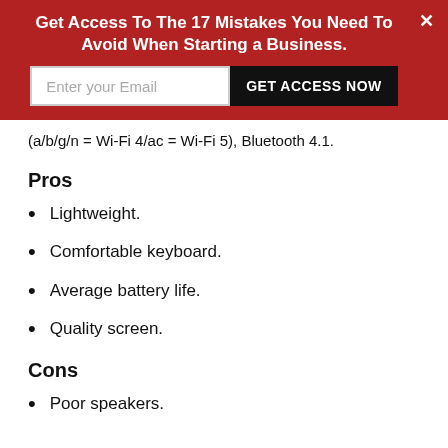Get Access To The 17 Mistakes You Need To Avoid When Starting a Business.
(a/b/g/n = Wi-Fi 4/ac = Wi-Fi 5), Bluetooth 4.1.
Pros
Lightweight.
Comfortable keyboard.
Average battery life.
Quality screen.
Cons
Poor speakers.